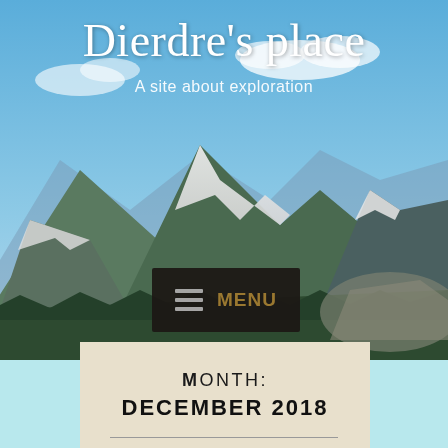[Figure (photo): Mountain landscape with snow-capped peaks, evergreen forest, blue sky — used as a website header background image]
Dierdre's place
A site about exploration
[Figure (screenshot): Dark navigation menu button with hamburger icon and 'MENU' text in olive/gold color]
Month: December 2018